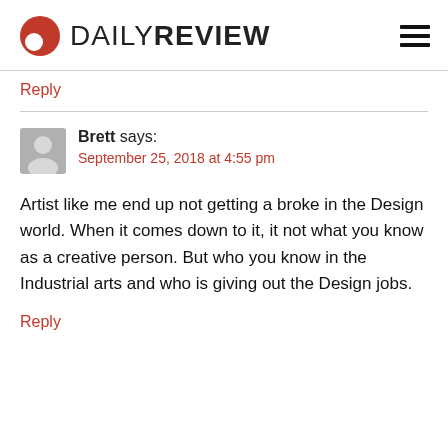DAILY REVIEW
Reply
Brett says:
September 25, 2018 at 4:55 pm
Artist like me end up not getting a broke in the Design world. When it comes down to it, it not what you know as a creative person. But who you know in the Industrial arts and who is giving out the Design jobs.
Reply